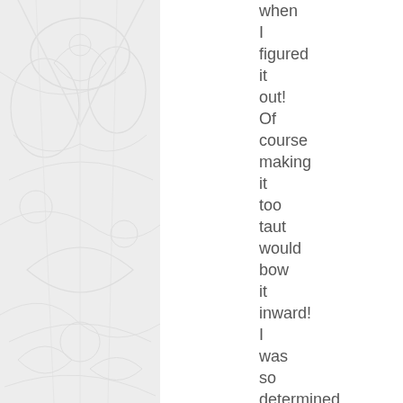[Figure (illustration): Decorative illustrated border on the left side of the page with light gray floral and figurative patterns]
when I figured it out! Of course making it too taut would bow it inward! I was so determined to make it